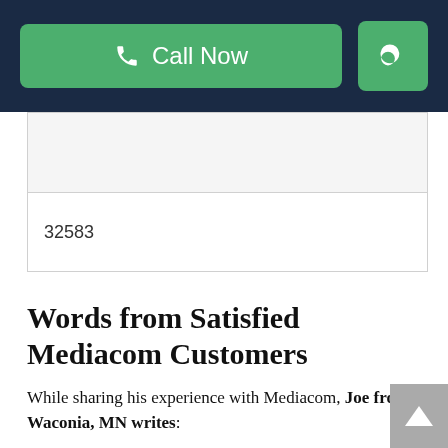Call Now [search icon]
32583
Words from Satisfied Mediacom Customers
While sharing his experience with Mediacom, Joe from Waconia, MN writes: “Mediacom is the only service provider in this area and I have them for phone, internet and cable. So far, my experience with their reps has